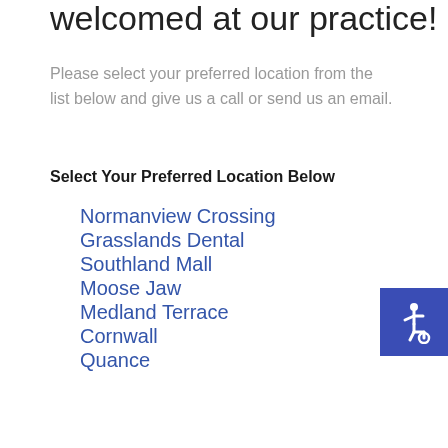welcomed at our practice!
Please select your preferred location from the list below and give us a call or send us an email.
Select Your Preferred Location Below
Normanview Crossing
Grasslands Dental
Southland Mall
Moose Jaw
Medland Terrace
Cornwall
Quance
[Figure (illustration): Accessibility wheelchair symbol icon in white on a blue square background, positioned in the right side of the page]